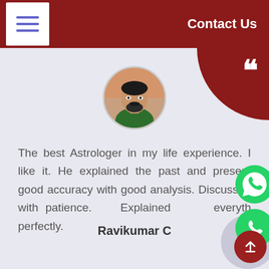Contact Us
[Figure (photo): Circular profile photo of a man in a green jacket]
The best Astrologer in my life experience. I like it. He explained the past and present good accuracy with good analysis. Discussed with patience. Explained everything perfectly.
Ravikumar C